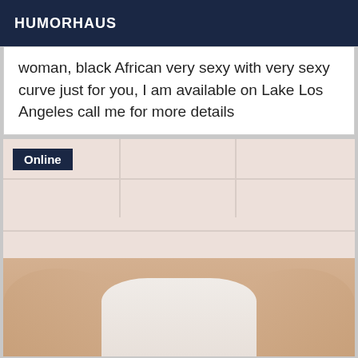HUMORHAUS
woman, black African very sexy with very sexy curve just for you, I am available on Lake Los Angeles call me for more details
[Figure (photo): Photo with an Online badge in the top-left corner, showing a person's legs against a light-colored paneled wall background]